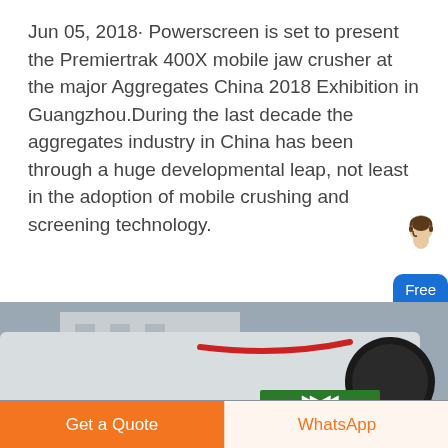Jun 05, 2018· Powerscreen is set to present the Premiertrak 400X mobile jaw crusher at the major Aggregates China 2018 Exhibition in Guangzhou.During the last decade the aggregates industry in China has been through a huge developmental leap, not least in the adoption of mobile crushing and screening technology.
[Figure (photo): Photograph of industrial machinery (mobile jaw crusher) in an outdoor setting with a building in the background.]
Get a Quote
WhatsApp